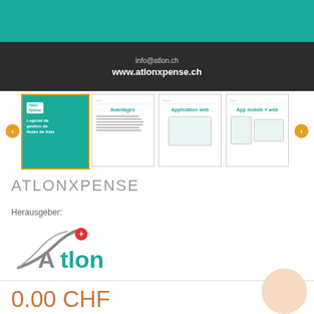[Figure (screenshot): Dark banner with contact info: info@atlon.ch and www.atlonxpense.ch on dark background with teal section above]
[Figure (screenshot): Row of four product screenshots: main teal cover slide, Avantages slide, Application web slide, App mobile + web slide, with orange navigation arrows]
ATLONXPENSE
Herausgeber:
[Figure (logo): Atlon company logo with stylized road/path graphic and red plus sign, teal lowercase 'tlon' text]
0.00 CHF